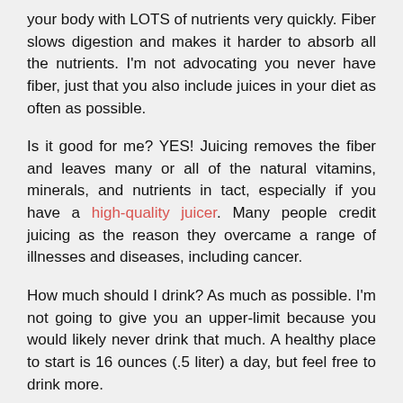your body with LOTS of nutrients very quickly. Fiber slows digestion and makes it harder to absorb all the nutrients. I'm not advocating you never have fiber, just that you also include juices in your diet as often as possible.
Is it good for me? YES! Juicing removes the fiber and leaves many or all of the natural vitamins, minerals, and nutrients in tact, especially if you have a high-quality juicer. Many people credit juicing as the reason they overcame a range of illnesses and diseases, including cancer.
How much should I drink? As much as possible. I'm not going to give you an upper-limit because you would likely never drink that much. A healthy place to start is 16 ounces (.5 liter) a day, but feel free to drink more.
Is it expensive? Depends on how you view the price of